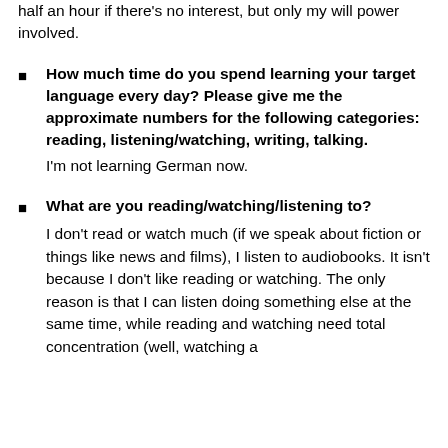About an hour if I'm enthusiastic, not more than half an hour if there's no interest, but only my will power involved.
How much time do you spend learning your target language every day? Please give me the approximate numbers for the following categories: reading, listening/watching, writing, talking.
I'm not learning German now.
What are you reading/watching/listening to?
I don't read or watch much (if we speak about fiction or things like news and films), I listen to audiobooks. It isn't because I don't like reading or watching. The only reason is that I can listen doing something else at the same time, while reading and watching need total concentration (well, watching a